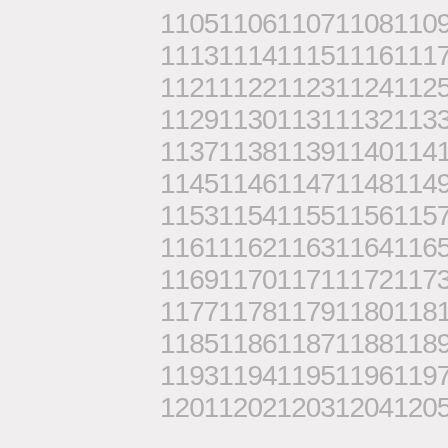1105110611071108110911101111112
11131114111511161117111811191120
11211122112311241125112611271128
11291130113111321133113411351136
11371138113911401141114211431144
11451146114711481149115011511152
11531154115511561157115811591160
11611162116311641165116611671168
11691170117111721173117411751176
11771178117911801181118211831184
11851186118711881189119011911192
11931194119511961197119811991200
12011202120312041205120612071208